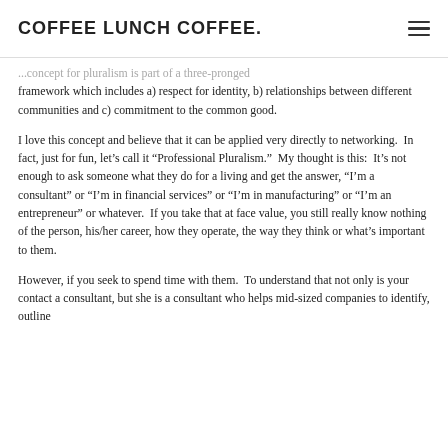COFFEE LUNCH COFFEE.
...concept for pluralism is part of a three-pronged framework which includes a) respect for identity, b) relationships between different communities and c) commitment to the common good.
I love this concept and believe that it can be applied very directly to networking.  In fact, just for fun, let’s call it “Professional Pluralism.”  My thought is this:  It’s not enough to ask someone what they do for a living and get the answer, “I’m a consultant” or “I’m in financial services” or “I’m in manufacturing” or “I’m an entrepreneur” or whatever.  If you take that at face value, you still really know nothing of the person, his/her career, how they operate, the way they think or what’s important to them.
However, if you seek to spend time with them.  To understand that not only is your contact a consultant, but she is a consultant who helps mid-sized companies to identify, outline and action their key strategic priorities and blah blah...